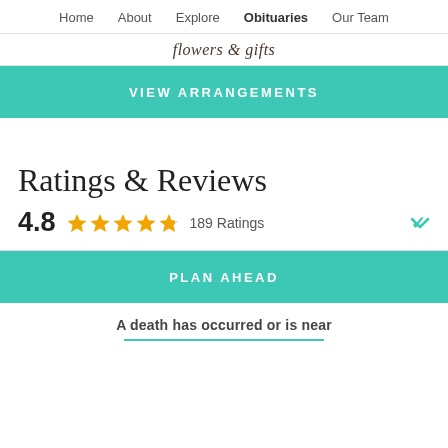Home   About   Explore   Obituaries   Our Team
flowers & gifts
VIEW ARRANGEMENTS
Ratings & Reviews
4.8  ★★★★½  189 Ratings
PLAN AHEAD
A death has occurred or is near